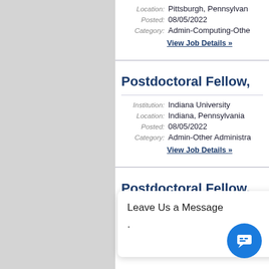Location: Pittsburgh, Pennsylvania
Posted: 08/05/2022
Category: Admin-Computing-Othe
View Job Details »
Postdoctoral Fellow,
Institution: Indiana University
Location: Indiana, Pennsylvania
Posted: 08/05/2022
Category: Admin-Other Administra
View Job Details »
Postdoctoral Fellow,
Posted: 08/05/2022
Leave Us a Message